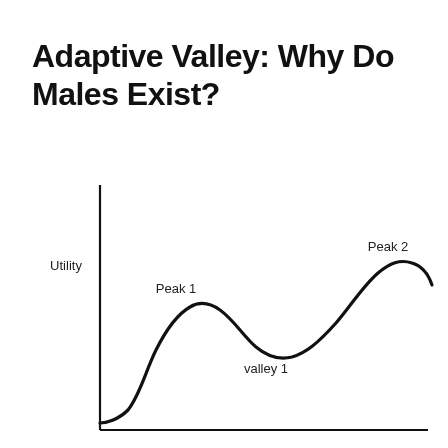Adaptive Valley: Why Do Males Exist?
[Figure (continuous-plot): A continuous curve chart with y-axis labeled 'Utility' and no x-axis label. The curve starts low at the bottom left, rises to 'Peak 1', dips to 'valley 1', then rises higher to 'Peak 2', before descending again to the right. The axes are simple lines with no tick marks or numeric labels.]